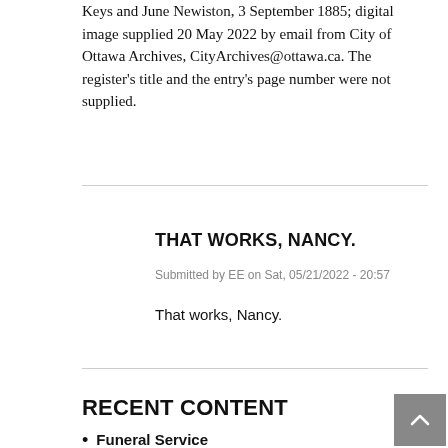Keys and June Newiston, 3 September 1885; digital image supplied 20 May 2022 by email from City of Ottawa Archives, CityArchives@ottawa.ca. The register's title and the entry's page number were not supplied.
THAT WORKS, NANCY.
Submitted by EE on Sat, 05/21/2022 - 20:57
That works, Nancy.
RECENT CONTENT
Funeral Service